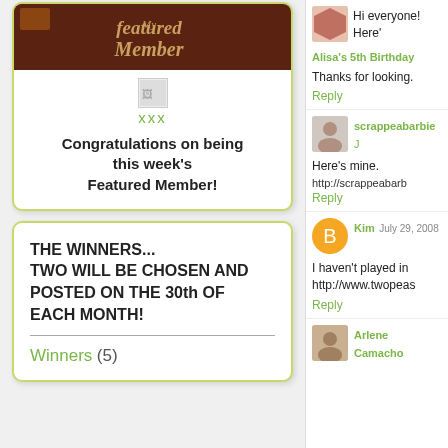[Figure (illustration): Featured Member banner with brown background and scalloped bottom edge]
[Figure (photo): Small placeholder photo thumbnail]
xxx
Congratulations on being this week's Featured Member!
THE WINNERS... TWO WILL BE CHOSEN AND POSTED ON THE 30th OF EACH MONTH!
Winners (5)
Hi everyone! Here'
Alisa's 5th Birthday
Thanks for looking.
Reply
scrappeabarbie J
Here's mine.
http://scrappeabarb
Reply
Kim July 29, 2008
I haven't played in http://www.twopeas
Reply
Arlene Camacho